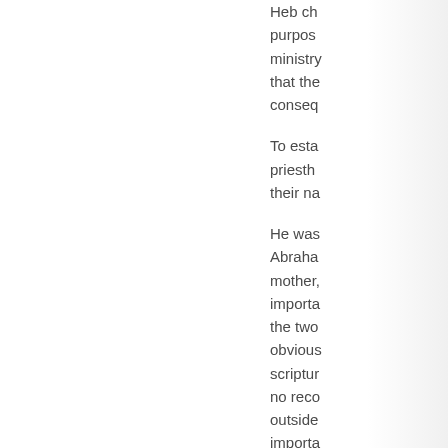Heb ch... purpos... ministry... that the... conseq...
To esta... priesth... their na...
He was... Abraham... mother,... importa... the two... obvious... scriptur... no reco... outside... importa... actually... could p...